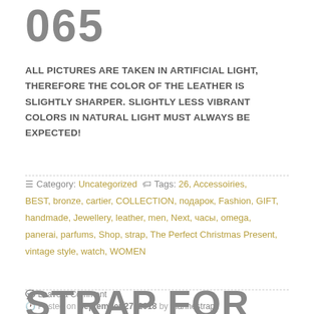065
ALL PICTURES ARE TAKEN IN ARTIFICIAL LIGHT, THEREFORE THE COLOR OF THE LEATHER IS SLIGHTLY SHARPER. SLIGHTLY LESS VIBRANT COLORS IN NATURAL LIGHT MUST ALWAYS BE EXPECTED!
Category: Uncategorized  Tags: 26, Accessoiries, BEST, bronze, cartier, COLLECTION, подарок, Fashion, GIFT, handmade, Jewellery, leather, men, Next, часы, omega, panerai, parfums, Shop, strap, The Perfect Christmas Present, vintage style, watch, WOMEN
Leave a Comment
Posted on September 27, 2018 by marinestraps
STRAP FOR